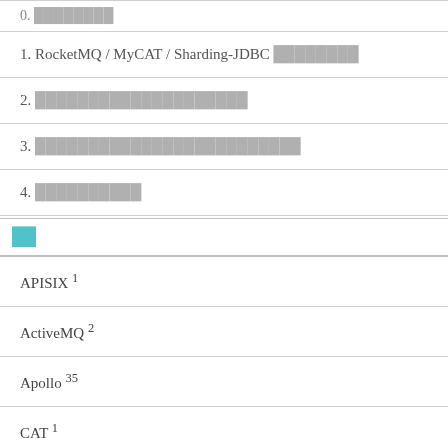0. ████████
1. RocketMQ / MyCAT / Sharding-JDBC ████████
2. ████████████████████
3. █████████████████████████
4. ██████████
██
APISIX ¹
ActiveMQ ²
Apollo ³⁵
CAT ¹
Canal ⁷
Elastic-Job-Cloud ⁶